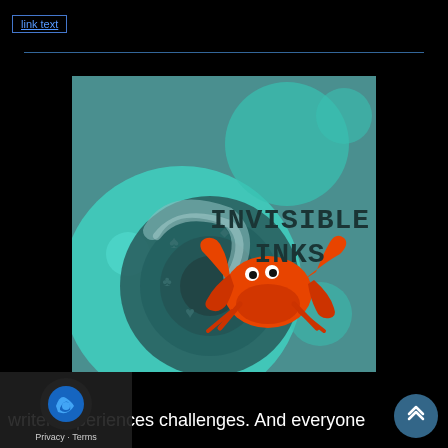[navigation link]
[Figure (logo): Invisible Inks logo: teal/cyan background with large bubble shapes, a spiral nautilus-like shell in dark teal with card suit symbols (spade, club, heart), an orange cartoon crab with claws and black eyes, and bold dark text reading 'INVISIBLE INKS']
writer experiences challenges. And everyone